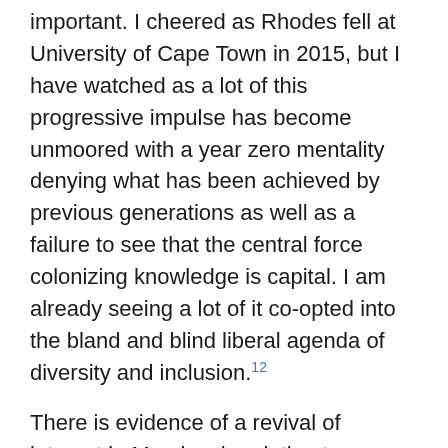important. I cheered as Rhodes fell at University of Cape Town in 2015, but I have watched as a lot of this progressive impulse has become unmoored with a year zero mentality denying what has been achieved by previous generations as well as a failure to see that the central force colonizing knowledge is capital. I am already seeing a lot of it co-opted into the bland and blind liberal agenda of diversity and inclusion.[12]
There is evidence of a revival of interest in Marxism in relation to science now in our current planetary emergency, particularly the looming climate catastrophe and the persisting COVID-19 pandemic. Positivist scientism has some limited potency, but is too narrow, too myopic to grasp the full picture. Premodern or postmodern anti-science is a blind alley.